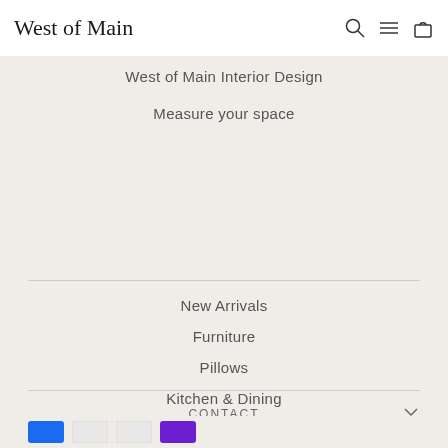West of Main
West of Main Interior Design
Measure your space
New Arrivals
Furniture
Pillows
Kitchen & Dining
Gift Cards
Blog
CONTACT